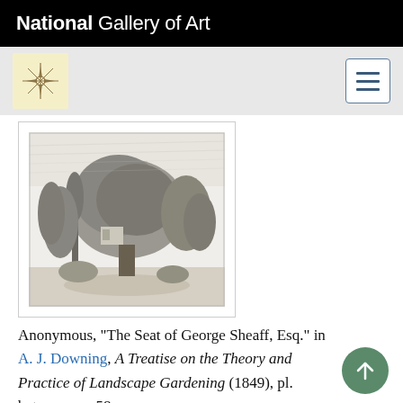National Gallery of Art
[Figure (illustration): Black and white engraving of a landscape scene with large trees and a building, titled 'The Seat of George Sheaff, Esq.']
Anonymous, "The Seat of George Sheaff, Esq." in A. J. Downing, A Treatise on the Theory and Practice of Landscape Gardening (1849), pl. between pp. 58